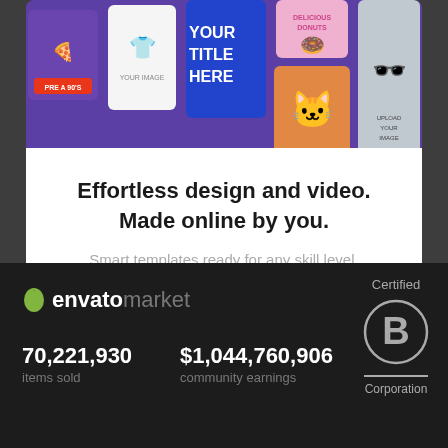[Figure (screenshot): Envato Placeit promotional banner showing various design templates including t-shirt mockups, social media graphics, and a bold 'YOUR TITLE HERE' template]
Effortless design and video. Made online by you.
Smart templates ready for any skill level.
[Figure (logo): Envato Market logo with green leaf icon, followed by statistics: 70,221,930 items sold and $1,044,760,906 community earnings, and Certified B Corporation badge]
70,221,930
items sold
$1,044,760,906
community earnings